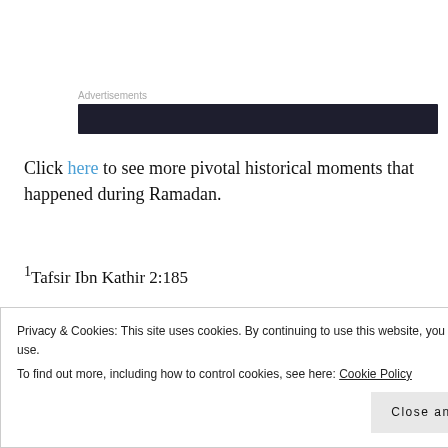[Figure (other): Advertisement banner block with dark background]
Click here to see more pivotal historical moments that happened during Ramadan.
1Tafsir Ibn Kathir 2:185
2http://www.muslimheritage.com/article/abu-al-wafa-al-buzjan%C3%AE
Privacy & Cookies: This site uses cookies. By continuing to use this website, you agree to their use. To find out more, including how to control cookies, see here: Cookie Policy
Close and accept